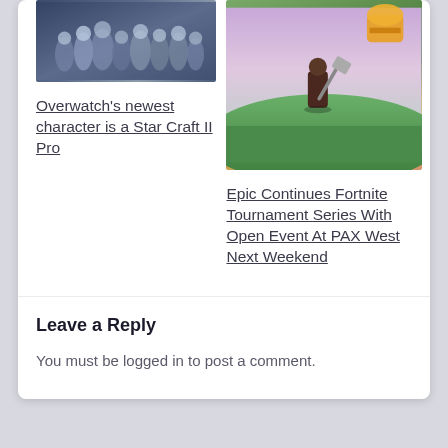[Figure (photo): Group photo of Overwatch characters]
[Figure (photo): Fortnite character in a field holding a spatula with a burger mascot in background]
Overwatch's newest character is a Star Craft II Pro
Epic Continues Fortnite Tournament Series With Open Event At PAX West Next Weekend
Leave a Reply
You must be logged in to post a comment.